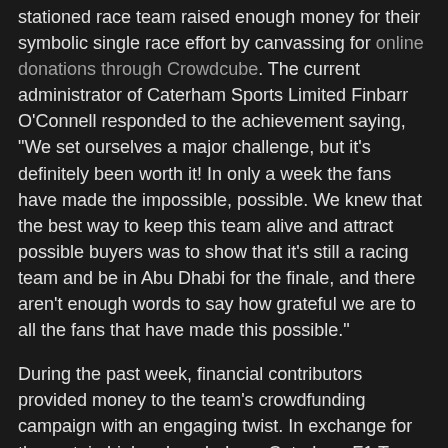stationed race team raised enough money for their symbolic single race effort by canvassing for online donations through Crowdcube. The current administrator of Caterham Sports Limited Finbarr O'Connell responded to the achievement saying, "We set ourselves a major challenge, but it's definitely been worth it! In only a week the fans have made the impossible, possible. We knew that the best way to keep this team alive and attract possible buyers was to show that it's still a racing team and be in Abu Dhabi for the finale, and there aren't enough words to say how grateful we are to all the fans that have made this possible."
During the past week, financial contributors provided money to the team's crowdfunding campaign with an engaging twist. In exchange for the certain high-value pledges, Caterham F1 Team has provided a wide range of gifts. A rare chance to acquire race-used items and to have individuals place their names on a Formula 1 car enticed a large crowd. Race car components such as front nose sections along with brake discs were available from the start while driving suits belonging to past Caterham F1 pilots Giedo van der Garde and Charles Pic were added later.